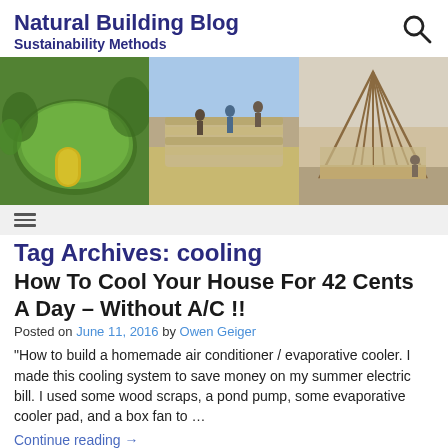Natural Building Blog
Sustainability Methods
[Figure (photo): Three-panel hero image: left panel shows a green earthen mound structure with yellow door; center panel shows people constructing a sandbag/earthbag wall in an open field; right panel shows a wooden frame structure being built.]
Tag Archives: cooling
How To Cool Your House For 42 Cents A Day – Without A/C !!
Posted on June 11, 2016 by Owen Geiger
“How to build a homemade air conditioner / evaporative cooler. I made this cooling system to save money on my summer electric bill. I used some wood scraps, a pond pump, some evaporative cooler pad, and a box fan to ...
Continue reading →